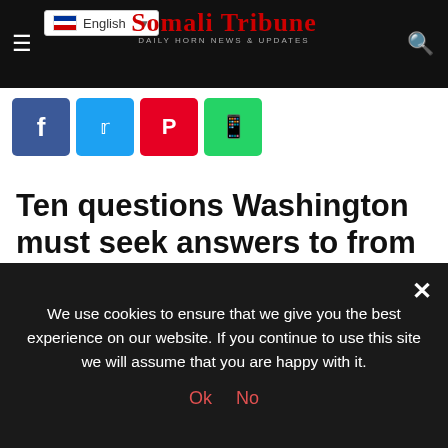Somali Tribune — Daily Horn News & Updates
[Figure (screenshot): Social share buttons: Facebook, Twitter, Pinterest, WhatsApp]
Ten questions Washington must seek answers to from Somalia Prime Minister, Hassan Ali Kheyre, during US visit.
Somali Prime Minister Hassan Ali Khaire begins a visit to Washington on Monday. Meetings are tentatively scheduled
We use cookies to ensure that we give you the best experience on our website. If you continue to use this site we will assume that you are happy with it.